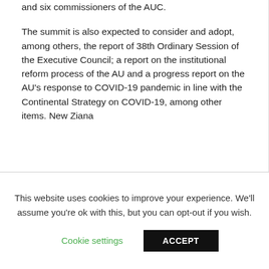and six commissioners of the AUC.

The summit is also expected to consider and adopt, among others, the report of 38th Ordinary Session of the Executive Council; a report on the institutional reform process of the AU and a progress report on the AU's response to COVID-19 pandemic in line with the Continental Strategy on COVID-19, among other items. New Ziana
This website uses cookies to improve your experience. We'll assume you're ok with this, but you can opt-out if you wish.